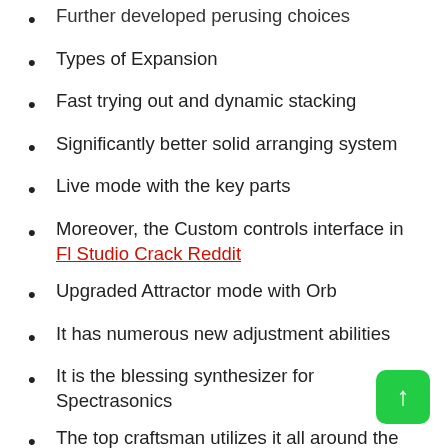Further developed perusing choices
Types of Expansion
Fast trying out and dynamic stacking
Significantly better solid arranging system
Live mode with the key parts
Moreover, the Custom controls interface in Fl Studio Crack Reddit
Upgraded Attractor mode with Orb
It has numerous new adjustment abilities
It is the blessing synthesizer for Spectrasonics
The top craftsman utilizes it all around the globe
It is extraordinarily adaptable with numerous sorts of blend